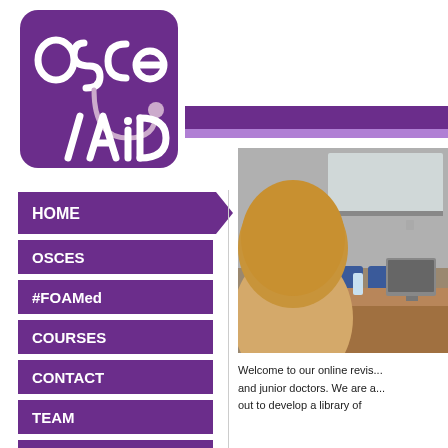[Figure (logo): OSCE Aid logo: purple rounded rectangle with white stylized text 'OSCE' and 'Aid' with a stethoscope graphic]
HOME
OSCES
#FOAMed
COURSES
CONTACT
TEAM
NEWS
[Figure (photo): Photo of a lecture theatre/classroom showing the back of a student's head, blue chairs, a wooden desk/podium, a computer monitor, and a whiteboard in the background]
Welcome to our online revis... and junior doctors. We are a... out to develop a library of